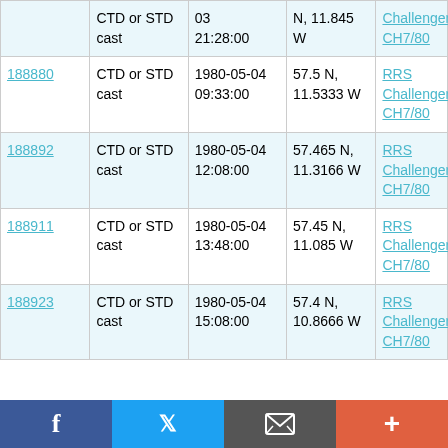| ID | Type | Date/Time | Location | Cruise |
| --- | --- | --- | --- | --- |
|  | CTD or STD cast | 1980-05-03 21:28:00 | N, 11.845 W | RRS Challenger CH7/80 |
| 188880 | CTD or STD cast | 1980-05-04 09:33:00 | 57.5 N, 11.5333 W | RRS Challenger CH7/80 |
| 188892 | CTD or STD cast | 1980-05-04 12:08:00 | 57.465 N, 11.3166 W | RRS Challenger CH7/80 |
| 188911 | CTD or STD cast | 1980-05-04 13:48:00 | 57.45 N, 11.085 W | RRS Challenger CH7/80 |
| 188923 | CTD or STD cast | 1980-05-04 15:08:00 | 57.4 N, 10.8666 W | RRS Challenger CH7/80 |